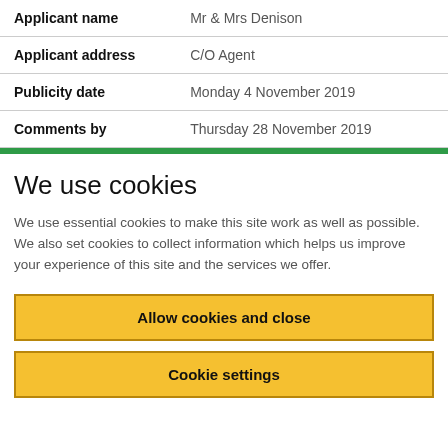| Field | Value |
| --- | --- |
| Applicant name | Mr & Mrs Denison |
| Applicant address | C/O Agent |
| Publicity date | Monday 4 November 2019 |
| Comments by | Thursday 28 November 2019 |
We use cookies
We use essential cookies to make this site work as well as possible. We also set cookies to collect information which helps us improve your experience of this site and the services we offer.
Allow cookies and close
Cookie settings